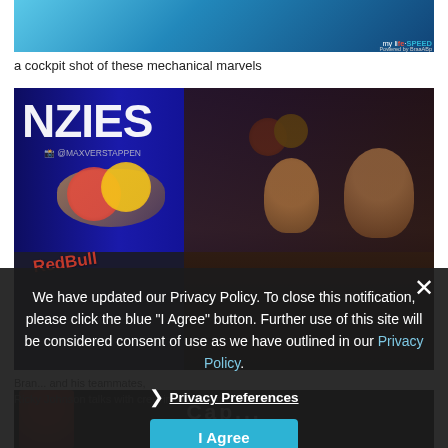[Figure (photo): Top portion of a racing-themed photo with a blue background and a logo reading 'my life SPEED' in the top right corner.]
a cockpit shot of these mechanical marvels
[Figure (photo): Red Bull motorsport event/pit lane scene showing a Red Bull branded racing helmet prominently in the foreground with 'NZIES' signage in the background and people (including Ricky Johnson) in the background.]
Brands and ... Ricky Johnson talks with crew in the background.
[Figure (photo): Partially visible bottom image showing a person in a red shirt and text overlay.]
We have updated our Privacy Policy. To close this notification, please click the blue "I Agree" button. Further use of this site will be considered consent of use as we have outlined in our Privacy Policy.
Privacy Preferences
I Agree